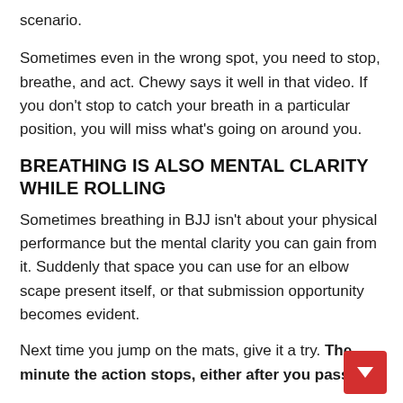scenario.
Sometimes even in the wrong spot, you need to stop, breathe, and act. Chewy says it well in that video. If you don't stop to catch your breath in a particular position, you will miss what's going on around you.
BREATHING IS ALSO MENTAL CLARITY WHILE ROLLING
Sometimes breathing in BJJ isn't about your physical performance but the mental clarity you can gain from it. Suddenly that space you can use for an elbow scape present itself, or that submission opportunity becomes evident.
Next time you jump on the mats, give it a try. The minute the action stops, either after you pass the